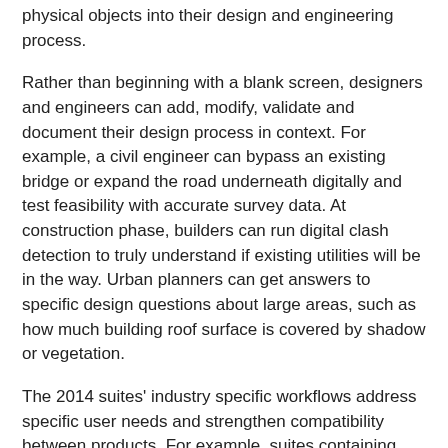physical objects into their design and engineering process.
Rather than beginning with a blank screen, designers and engineers can add, modify, validate and document their design process in context. For example, a civil engineer can bypass an existing bridge or expand the road underneath digitally and test feasibility with accurate survey data. At construction phase, builders can run digital clash detection to truly understand if existing utilities will be in the way. Urban planners can get answers to specific design questions about large areas, such as how much building roof surface is covered by shadow or vegetation.
The 2014 suites' industry specific workflows address specific user needs and strengthen compatibility between products. For example, suites containing Autodesk Revit products and Autodesk AutoCAD software enjoy tighter interoperability so when it is time to import forms from AutoCAD into Revit products, the forms retain much greater integrity, or when it is time to output drawings in AutoCAD, users can generate 2D documentation within Revit products. Suites containing Autodesk Revit and Autodesk Inventor software will benefit from tighter interoperability that allows users to generate...